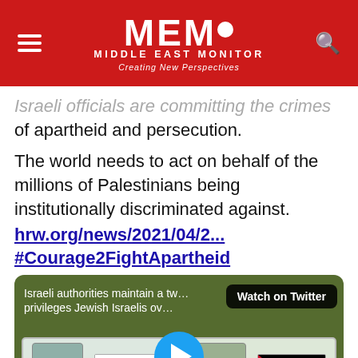MEMO MIDDLE EAST MONITOR Creating New Perspectives
Israeli officials are committing the crimes of apartheid and persecution.
The world needs to act on behalf of the millions of Palestinians being institutionally discriminated against. hrw.org/news/2021/04/2... #Courage2FightApartheid
[Figure (screenshot): Twitter video embed showing Israeli authorities maintaining a two-tier system that privileges Jewish Israelis over Palestinians, with illustration of two ID card holders and flags. Watch on Twitter button visible.]
"To maintain domination, Israeli authorities